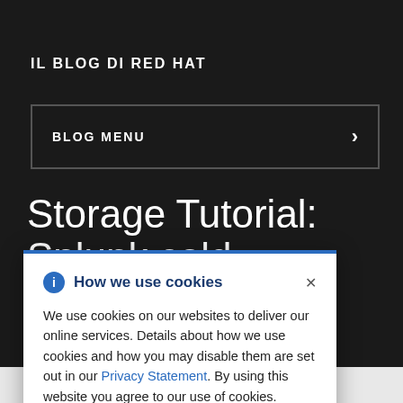IL BLOG DI RED HAT
BLOG MENU >
Storage Tutorial: Splunk cold
How we use cookies
We use cookies on our websites to deliver our online services. Details about how we use cookies and how you may disable them are set out in our Privacy Statement. By using this website you agree to our use of cookies.